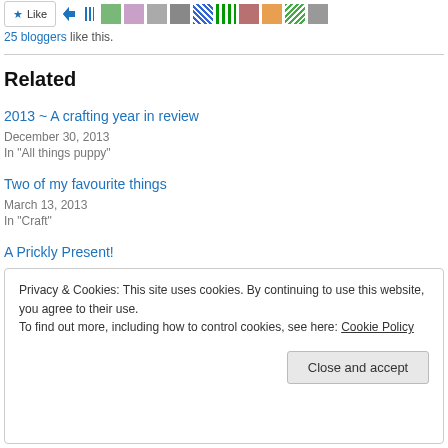[Figure (screenshot): Like button with star icon and row of avatar thumbnails]
25 bloggers like this.
Related
2013 ~ A crafting year in review
December 30, 2013
In "All things puppy"
Two of my favourite things
March 13, 2013
In "Craft"
A Prickly Present!
Privacy & Cookies: This site uses cookies. By continuing to use this website, you agree to their use.
To find out more, including how to control cookies, see here: Cookie Policy